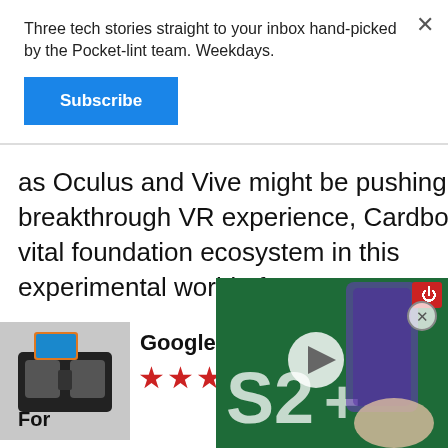Three tech stories straight to your inbox hand-picked by the Pocket-lint team. Weekdays.
Subscribe
as Oculus and Vive might be pushing a breakthrough VR experience, Cardboard is a vital foundation ecosystem in this experimental world of VR.
[Figure (screenshot): Samsung Galaxy S22+ promotional video thumbnail with hand holding phone on green background, play button overlay]
[Figure (photo): Google Cardboard VR headset with smartphone inserted, shown on grey background]
Google Cardboard
★★★★☆
For
Against